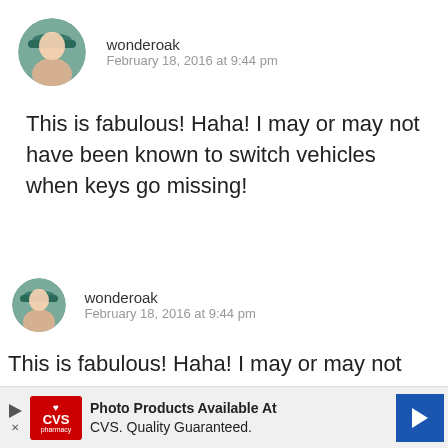[Figure (illustration): Circular avatar photo of user wonderoak wearing a teal beret]
wonderoak
February 18, 2016 at 9:44 pm
This is fabulous! Haha! I may or may not have been known to switch vehicles when keys go missing!
[Figure (illustration): Circular avatar photo of user wonderoak wearing a teal beret (smaller)]
wonderoak
February 18, 2016 at 9:44 pm
This is fabulous! Haha! I may or may not have been known to switch vehicles when keys go missing!
[Figure (other): CVS pharmacy advertisement banner: Photo Products Available At CVS. Quality Guaranteed.]